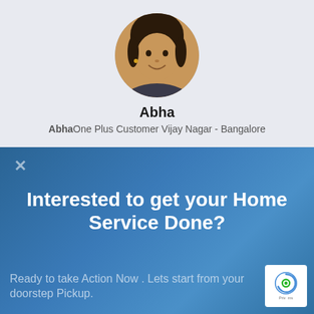[Figure (photo): Circular profile photo of a smiling woman named Abha]
Abha
AbhaOne Plus Customer Vijay Nagar - Bangalore
[Figure (infographic): Blue background image with phone repair tools and a hand in a blue glove, overlaid with text about home service]
Interested to get your Home Service Done?
Ready to take Action Now . Lets start from your doorstep Pickup.